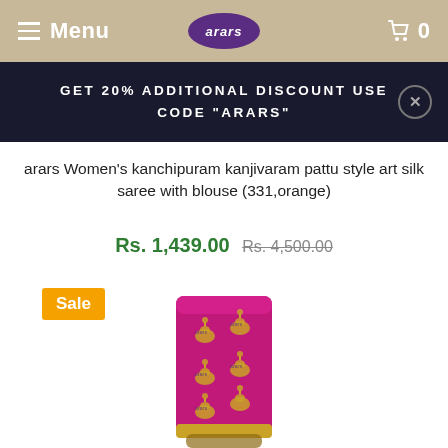Menu  arars  0
GET 20% ADDITIONAL DISCOUNT USE CODE "ARARS"
arars Women's kanchipuram kanjivaram pattu style art silk saree with blouse (331,orange)
Rs. 1,439.00 Rs. 4,500.00
Sale
[Figure (photo): Folded magenta/pink silk saree with gold woven motifs (peacock/swan patterns) and a gold border, shown as a rolled/folded piece standing upright.]